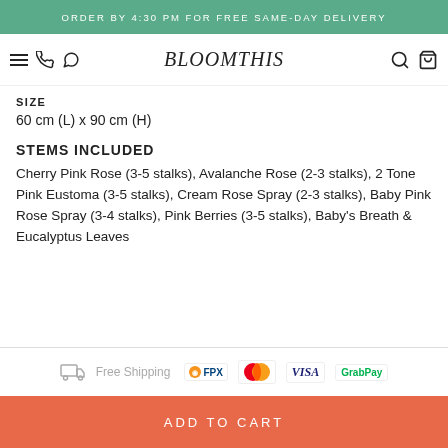ORDER BY 4:30 PM FOR FREE SAME-DAY DELIVERY
[Figure (logo): BloomThis logo with hamburger menu, phone and WhatsApp icons on left, search and cart icons on right]
SIZE
60 cm (L) x 90 cm (H)
STEMS INCLUDED
Cherry Pink Rose (3-5 stalks), Avalanche Rose (2-3 stalks), 2 Tone Pink Eustoma (3-5 stalks), Cream Rose Spray (2-3 stalks), Baby Pink Rose Spray (3-4 stalks), Pink Berries (3-5 stalks), Baby's Breath & Eucalyptus Leaves
[Figure (infographic): Free Shipping badge with truck icon, FPX, Mastercard, Visa, GrabPay payment method logos]
ADD TO CART